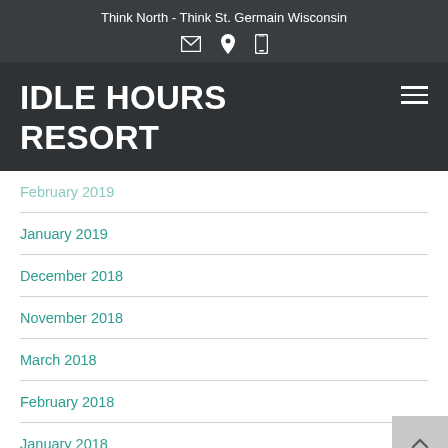Think North - Think St. Germain Wisconsin
IDLE HOURS RESORT
February 2019
January 2019
December 2018
November 2018
March 2018
February 2018
January 2018